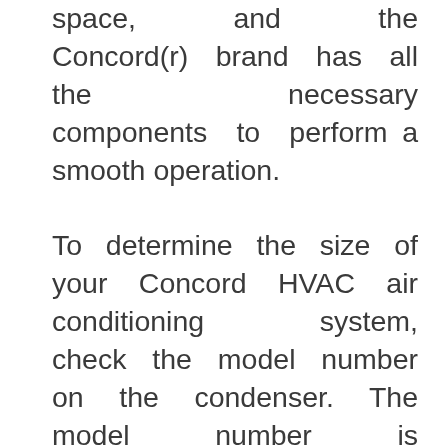space, and the Concord(r) brand has all the necessary components to perform a smooth operation.

To determine the size of your Concord HVAC air conditioning system, check the model number on the condenser. The model number is divisible by six or twelve and represents the nominal BTU in thousands of British thermal units. A ton of air